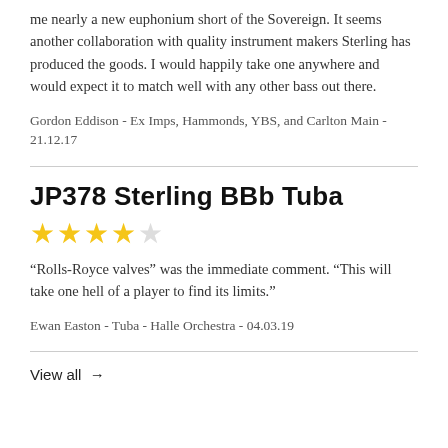me nearly a new euphonium short of the Sovereign. It seems another collaboration with quality instrument makers Sterling has produced the goods. I would happily take one anywhere and would expect it to match well with any other bass out there.
Gordon Eddison - Ex Imps, Hammonds, YBS, and Carlton Main - 21.12.17
JP378 Sterling BBb Tuba
★★★★★ (4.5 stars)
“Rolls-Royce valves” was the immediate comment. “This will take one hell of a player to find its limits.”
Ewan Easton - Tuba - Halle Orchestra - 04.03.19
View all →